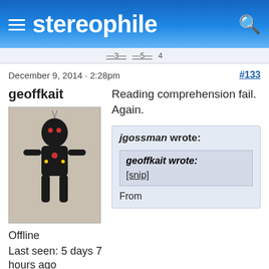stereophile
December 9, 2014 · 2:28pm
#133
geoffkait
[Figure (photo): Avatar photo of user geoffkait showing a dark voodoo doll figurine]
Offline
Last seen: 5 days 7 hours ago
Joined: Apr 29 2008 · 5:10am
Reading comprehension fail. Again.
jgossman wrote:
geoffkait wrote:
[snip]
From